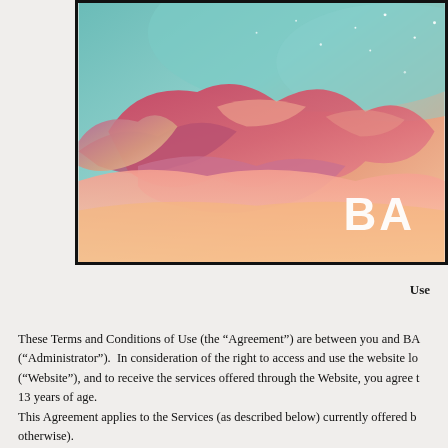[Figure (illustration): A colorful dreamscape/fantasy sky image with pink, red, coral clouds against a teal starry sky background. Partial bold white text 'BA' visible in lower right corner.]
Use
These Terms and Conditions of Use (the “Agreement”) are between you and BA (“Administrator”).  In consideration of the right to access and use the website lo (“Website”), and to receive the services offered through the Website, you agree t 13 years of age.
This Agreement applies to the Services (as described below) currently offered b otherwise).